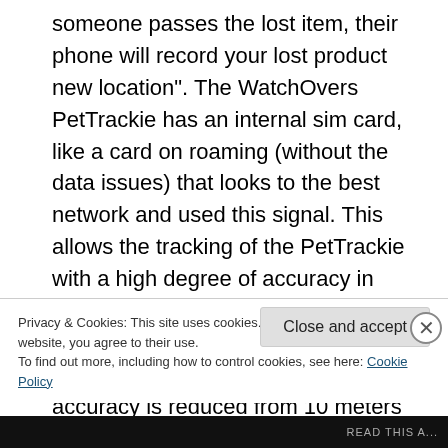someone passes the lost item, their phone will record your lost product new location". The WatchOvers PetTrackie has an internal sim card, like a card on roaming (without the data issues) that looks to the best network and used this signal. This allows the tracking of the PetTrackie with a high degree of accuracy in over 150 countries worldwide. The outdoor accuracy is between 3 meters to 30 meters, indoor accuracy is reduced from 10 meters to 100 meters depending on the nearest mobile
Privacy & Cookies: This site uses cookies. By continuing to use this website, you agree to their use.
To find out more, including how to control cookies, see here: Cookie Policy
Close and accept